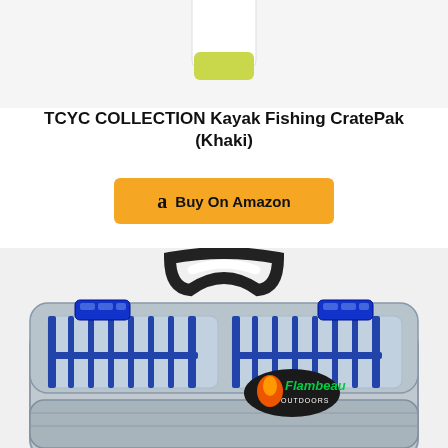[Figure (photo): Top portion of a product image showing a white cylindrical container with a yellow-green top, cropped at the top of the page]
TCYC COLLECTION Kayak Fishing CratePak (Khaki)
[Figure (screenshot): Yellow Amazon Buy On Amazon button with Amazon 'a' logo]
[Figure (photo): Flambeau Outdoors tackle box with clear lid, blue dividers, silver frame, black handle with white grip, and blue latches. Flambeau Outdoors logo visible on the front.]